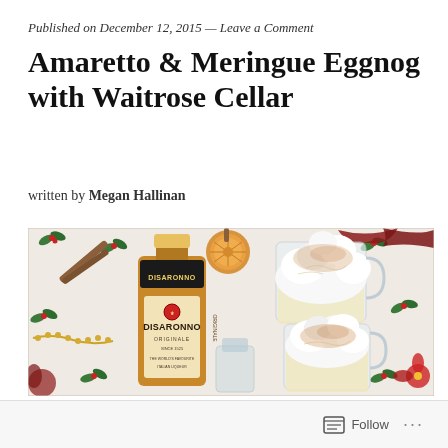Published on December 12, 2015 — Leave a Comment
Amaretto & Meringue Eggnog with Waitrose Cellar
written by Megan Hallinan
[Figure (photo): Overhead photo of a Disaronno Originale amaretto bottle next to two glass mugs of eggnog topped with swirled meringue dusted with cinnamon, on a Christmas-themed holly tablecloth with dried orange slices and cinnamon sticks]
Follow